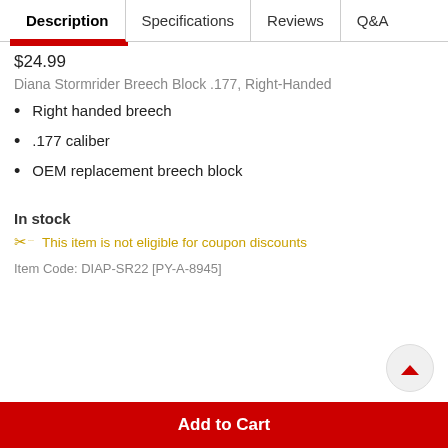Description | Specifications | Reviews | Q&A
$24.99
Diana Stormrider Breech Block .177, Right-Handed
Right handed breech
.177 caliber
OEM replacement breech block
In stock
This item is not eligible for coupon discounts
Item Code: DIAP-SR22 [PY-A-8945]
Add to Cart